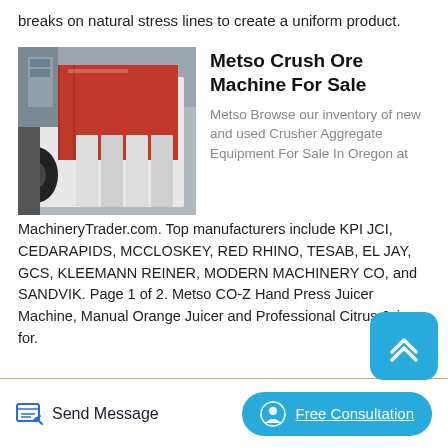breaks on natural stress lines to create a uniform product.
Metso Crush Ore Machine For Sale
[Figure (photo): Industrial ore crusher machine with red interior and white exterior panels, shown in a factory/warehouse setting.]
Metso Browse our inventory of new and used Crusher Aggregate Equipment For Sale In Oregon at MachineryTrader.com. Top manufacturers include KPI JCI, CEDARAPIDS, MCCLOSKEY, RED RHINO, TESAB, EL JAY, GCS, KLEEMANN REINER, MODERN MACHINERY CO, and SANDVIK. Page 1 of 2. Metso CO-Z Hand Press Juicer Machine, Manual Orange Juicer and Professional Citrus Juicer for.
Send Message
Free Consultation